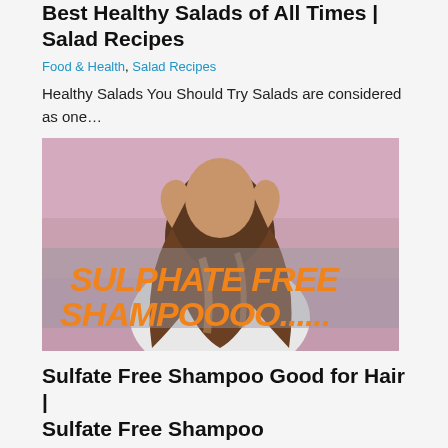Best Healthy Salads of All Times | Salad Recipes
Food & Health, Salad Recipes
Healthy Salads You Should Try Salads are considered as one…
[Figure (photo): Woman with hands in hair showing long wavy hair, against a pink background, with bold orange text overlay reading 'SULPHATE FREE SHAMPOOOO......']
Sulfate Free Shampoo Good for Hair | Sulfate Free Shampoo